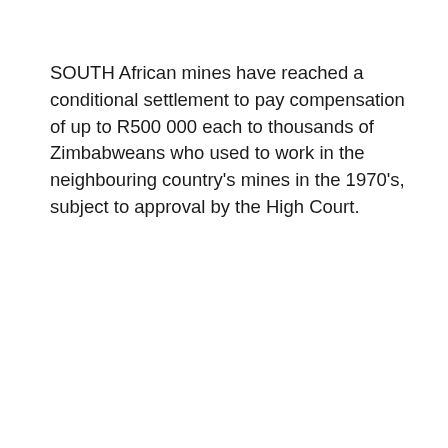SOUTH African mines have reached a conditional settlement to pay compensation of up to R500 000 each to thousands of Zimbabweans who used to work in the neighbouring country's mines in the 1970's, subject to approval by the High Court.